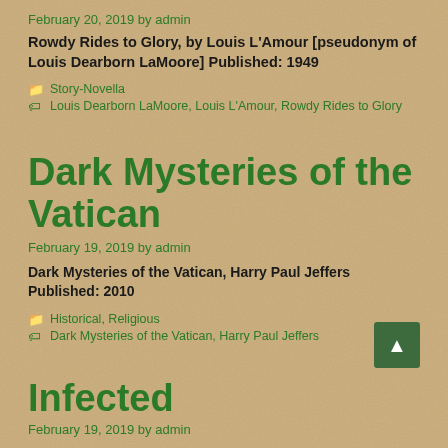February 20, 2019 by admin
Rowdy Rides to Glory, by Louis L'Amour [pseudonym of Louis Dearborn LaMoore] Published: 1949
Story-Novella
Louis Dearborn LaMoore, Louis L'Amour, Rowdy Rides to Glory
Dark Mysteries of the Vatican
February 19, 2019 by admin
Dark Mysteries of the Vatican, Harry Paul Jeffers Published: 2010
Historical, Religious
Dark Mysteries of the Vatican, Harry Paul Jeffers
Infected
February 19, 2019 by admin